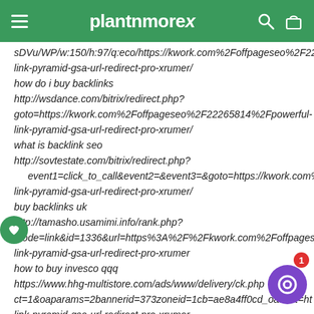plantnmorex
sDVu/WP/w:150/h:97/q:eco/https://kwork.com%2Foffpageseo%2F222 link-pyramid-gsa-url-redirect-pro-xrumer/
how do i buy backlinks
http://wsdance.com/bitrix/redirect.php?goto=https://kwork.com%2Foffpageseo%2F22265814%2Fpowerful-link-pyramid-gsa-url-redirect-pro-xrumer/
what is backlink seo
http://sovtestate.com/bitrix/redirect.php?event1=click_to_call&event2=&event3=&goto=https://kwork.com%2F link-pyramid-gsa-url-redirect-pro-xrumer/
buy backlinks uk
http://tamasho.usamimi.info/rank.php?mode=link&id=1336&url=https%3A%2F%2Fkwork.com%2Foffpagese link-pyramid-gsa-url-redirect-pro-xrumer
how to buy invesco qqq
https://www.hhg-multistore.com/ads/www/delivery/ck.php ct=1&oaparams=2bannerid=373zoneid=1cb=ae8a4ff0cd_oadest=ht
link-pyramid-gsa-url-redirect-pro-xrumer